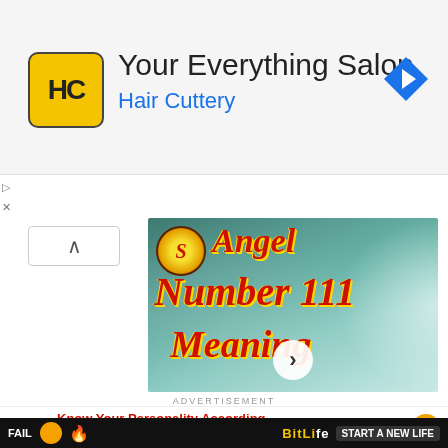[Figure (screenshot): Hair Cuttery advertisement banner with HC logo on yellow background, title 'Your Everything Salon', subtitle 'Hair Cuttery' in blue, and blue navigation arrow icon on right]
[Figure (screenshot): Article thumbnail image showing 'Angel Number 111 Meaning' with red italic text on teal/blue mystical background, sun logo, and play button]
ADVERTISEMENT
[Figure (screenshot): Bottom advertisement: 'Know Your Personality According To Date Of Birth' with star decorations and orange arrow button]
[Figure (screenshot): BitLife game advertisement bar at bottom: FAIL text, cartoon character, flame, START A NEW LIFE text]